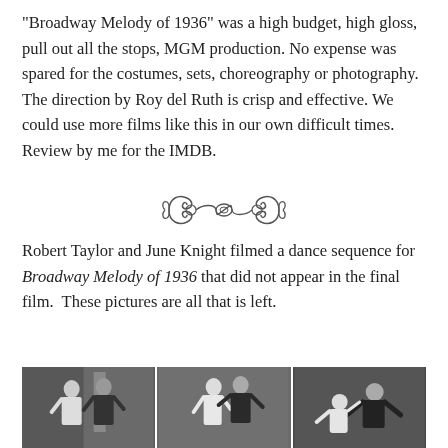“Broadway Melody of 1936” was a high budget, high gloss, pull out all the stops, MGM production. No expense was spared for the costumes, sets, choreography or photography. The direction by Roy del Ruth is crisp and effective. We could use more films like this in our own difficult times. Review by me for the IMDB.
[Figure (illustration): Decorative scroll/flourish divider ornament]
Robert Taylor and June Knight filmed a dance sequence for Broadway Melody of 1936 that did not appear in the final film.  These pictures are all that is left.
[Figure (photo): Three black-and-white photographs side by side showing Robert Taylor and June Knight dancing together in various poses from their filmed but cut dance sequence for Broadway Melody of 1936.]